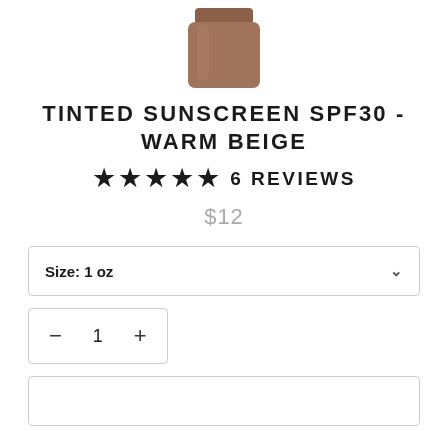[Figure (photo): Partial view of a brown/warm beige cylindrical product container (sunscreen) cropped at top of page]
TINTED SUNSCREEN SPF30 - WARM BEIGE
★★★★★ 6 REVIEWS
$12
Size: 1 oz
— 1 +